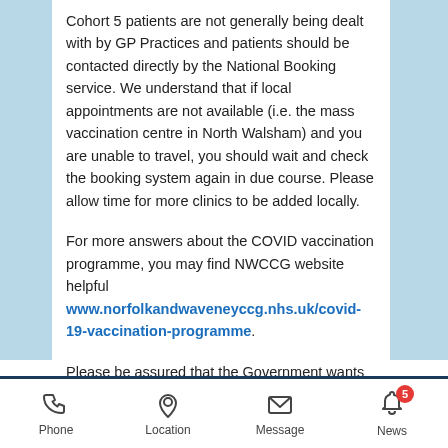Cohort 5 patients are not generally being dealt with by GP Practices and patients should be contacted directly by the National Booking service. We understand that if local appointments are not available (i.e. the mass vaccination centre in North Walsham) and you are unable to travel, you should wait and check the booking system again in due course. Please allow time for more clinics to be added locally.
For more answers about the COVID vaccination programme, you may find NWCCG website helpful www.norfolkandwaveneyccg.nhs.uk/covid-19-vaccination-programme.
Please be assured that the Government wants everyone eligible to be offered a vaccination and over time, you will be contacted and a solution will be found to giving you the vaccine.
Phone | Location | Message | News (5)